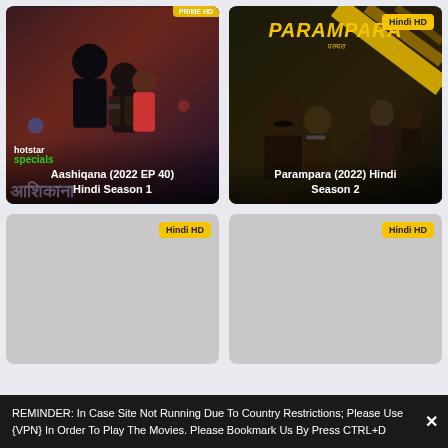[Figure (screenshot): Movie/show card for Aashiqana (2022 EP 40) Hindi Season 1 with hotstar specials badge]
Aashiqana (2022 EP 40) Hindi Season 1
[Figure (screenshot): Movie/show card for Parampara (2022) Hindi Season 2 with Hindi HD badge]
Parampara (2022) Hindi Season 2
[Figure (screenshot): Movie card placeholder with Hindi HD badge]
[Figure (screenshot): Movie card placeholder with Hindi HD badge]
REMINDER: In Case Site Not Running Due To Country Restrictions; Please Use {VPN} In Order To Play The Movies. Please Bookmark Us By Press CTRL+D